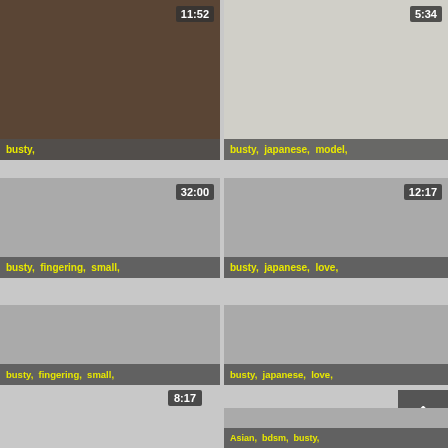[Figure (screenshot): Video thumbnail top-left, dark tones, duration 11:52, tags: busty,]
[Figure (screenshot): Video thumbnail top-right, light tones woman in yellow, duration 5:34, tags: busty, japanese, model,]
[Figure (screenshot): Video thumbnail mid-left, gray placeholder, duration 32:00, tags: busty, fingering, small,]
[Figure (screenshot): Video thumbnail mid-right, gray placeholder, duration 12:17, tags: busty, japanese, love,]
[Figure (screenshot): Video thumbnail row3-left, gray placeholder, duration 8:17, tags: busty, fingering, small,]
[Figure (screenshot): Video thumbnail row3-right, gray placeholder, tags: busty, japanese, love,]
[Figure (screenshot): Partial video thumbnail bottom-right, tags: Asian, bdsm, busty,]